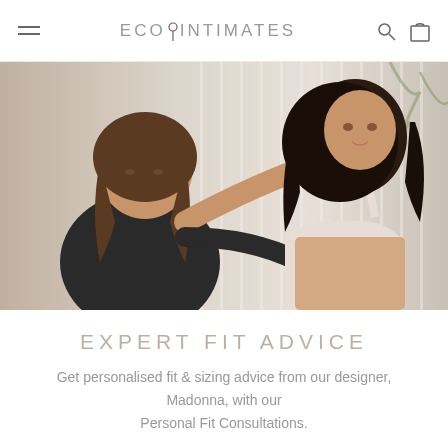ECO INTIMATES
[Figure (photo): A fitting specialist dressed in black adjusting the straps of a cream/beige bralette on a young woman with long curly dark hair, in a bright studio setting with white curtains and a plant in the background.]
EXPERT FIT ADVICE
Get personalised fit & sizing advice from our designer, Madonna, with our Personal Fit Consultations.
ASK MADONNA